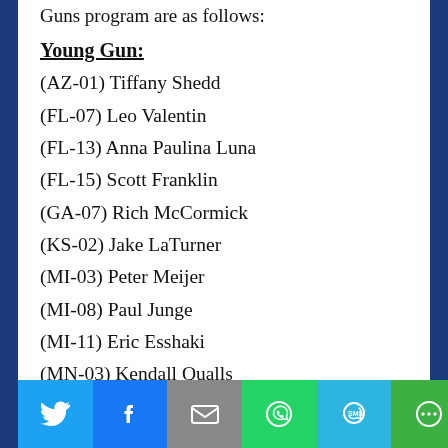Guns program are as follows:
Young Gun:
(AZ-01) Tiffany Shedd
(FL-07) Leo Valentin
(FL-13) Anna Paulina Luna
(FL-15) Scott Franklin
(GA-07) Rich McCormick
(KS-02) Jake LaTurner
(MI-03) Peter Meijer
(MI-08) Paul Junge
(MI-11) Eric Esshaki
(MN-03) Kendall Qualls
(NC-11) Madison Cawthorn